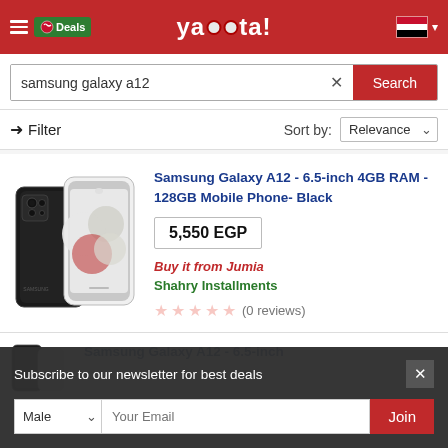yaoota! - Deals - Egypt
samsung galaxy a12
Filter  Sort by: Relevance
[Figure (photo): Samsung Galaxy A12 smartphone shown from back and front, black color]
Samsung Galaxy A12 - 6.5-inch 4GB RAM - 128GB Mobile Phone- Black
5,550 EGP
Buy it from Jumia
Shahry Installments
(0 reviews)
Samsung Galaxy A12 - 6.5-inch
Subscribe to our newsletter for best deals
Male  Your Email  Join